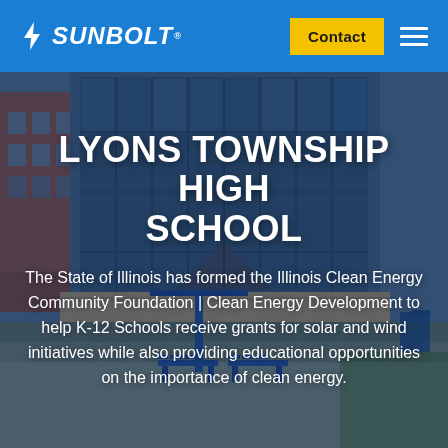SUNBOLT | Contact
[Figure (photo): Exterior photo of Lyons Township High School building with large glass windows, brick facade, a blue metal solar charging bench/table station in the foreground with an umbrella on a paved plaza area.]
LYONS TOWNSHIP HIGH SCHOOL
The State of Illinois has formed the Illinois Clean Energy Community Foundation | Clean Energy Development to help K-12 Schools receive grants for solar and wind initiatives while also providing educational opportunities on the importance of clean energy.